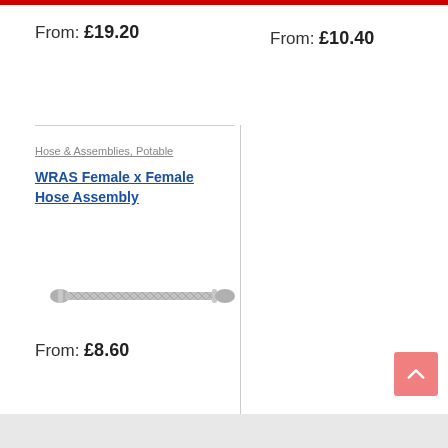From: £19.20
From: £10.40
Hose & Assemblies, Potable
WRAS Female x Female Hose Assembly
[Figure (photo): A stainless steel braided flexible hose assembly with female fittings on both ends]
From: £8.60